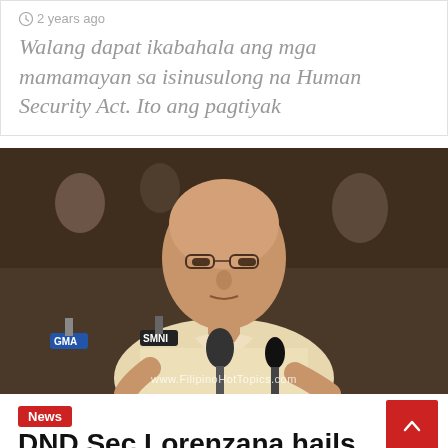2 years ago
Walang dapat ikabahala ang mga mamamayan sa isinusulong na Human Security Act. Ito ang pagtiyak
[Figure (photo): Philippine official in barong tagalog speaking at a press conference with multiple microphones including GMA and SMNI logos, watermark: www.FilipinoHotTopics.com]
News
DND Sec Lorenzana hails